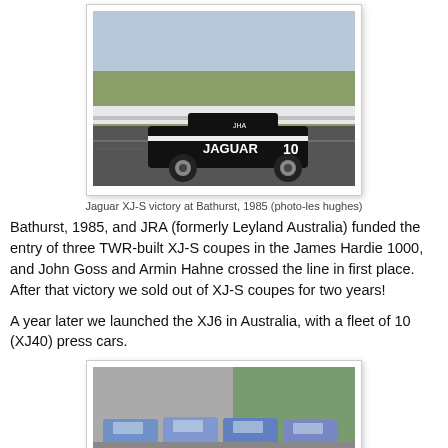[Figure (photo): Jaguar XJ-S race car number 10 with JRA and JAGUAR livery racing on a track at Bathurst, 1985]
Jaguar XJ-S victory at Bathurst, 1985 (photo-les hughes)
Bathurst, 1985, and JRA (formerly Leyland Australia) funded the entry of three TWR-built XJ-S coupes in the James Hardie 1000, and John Goss and Armin Hahne crossed the line in first place. After that victory we sold out of XJ-S coupes for two years!
A year later we launched the XJ6 in Australia, with a fleet of 10 (XJ40) press cars.
[Figure (photo): Fleet of Jaguar XJ6 (XJ40) press cars parked in Australia]